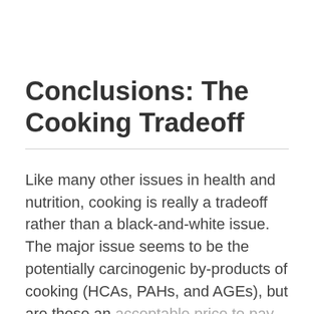Conclusions: The Cooking Tradeoff
Like many other issues in health and nutrition, cooking is really a tradeoff rather than a black-and-white issue. The major issue seems to be the potentially carcinogenic by-products of cooking (HCAs, PAHs, and AGEs), but are these an acceptable price to pay for better food safety